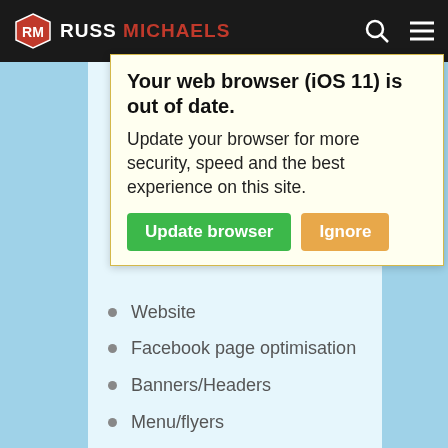[Figure (logo): Russ Michaels website header with logo icon, site name, search icon, and hamburger menu on dark background]
Your web browser (iOS 11) is out of date. Update your browser for more security, speed and the best experience on this site. [Update browser] [Ignore]
Website
Facebook page optimisation
Banners/Headers
Menu/flyers
Google My Business Setup
Bing Places setup
Yelp Setup
isation
Managed WordPress hosting
Get a FREE SEO Audit